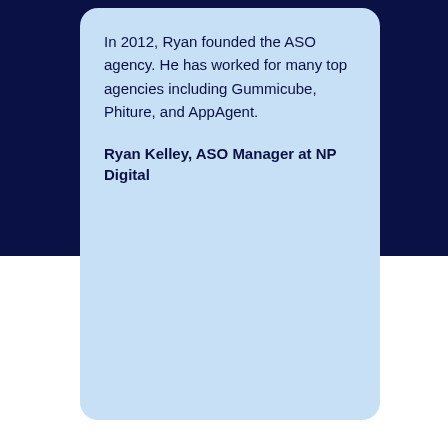In 2012, Ryan founded the ASO agency. He has worked for many top agencies including Gummicube, Phiture, and AppAgent.
Ryan Kelley, ASO Manager at NP Digital